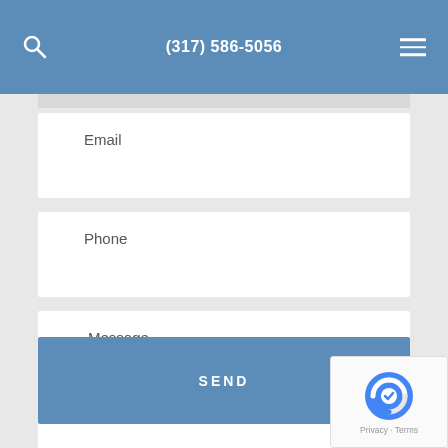(317) 586-5056
Email
Phone
Message
SEND
Privacy · Terms